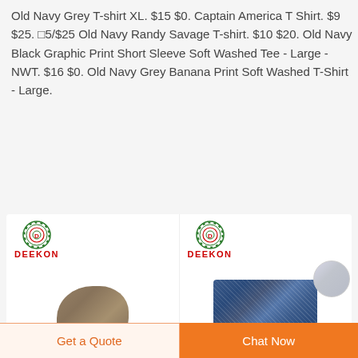Old Navy Grey T-shirt XL. $15 $0. Captain America T Shirt. $9 $25. □5/$25 Old Navy Randy Savage T-shirt. $10 $20. Old Navy Black Graphic Print Short Sleeve Soft Washed Tee - Large - NWT. $16 $0. Old Navy Grey Banana Print Soft Washed T-Shirt - Large.
[Figure (photo): Two product listing cards side by side, each with a DEEKON logo (circular target-style icon in green/red with letter D, and red DEEKON text below). Left card shows a crumpled brown fabric sample. Right card shows a blue digital camouflage fabric swatch with a circular grey fabric detail in top-right corner.]
Get a Quote
Chat Now